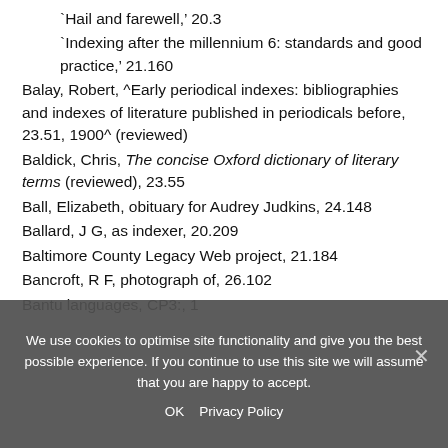'Hail and farewell,' 20.3
'Indexing after the millennium 6: standards and good practice,' 21.160
Balay, Robert, ^Early periodical indexes: bibliographies and indexes of literature published in periodicals before, 23.51, 1900^ (reviewed)
Baldick, Chris, The concise Oxford dictionary of literary terms (reviewed), 23.55
Ball, Elizabeth, obituary for Audrey Judkins, 24.148
Ballard, J G, as indexer, 20.209
Baltimore County Legacy Web project, 21.184
Bancroft, R F, photograph of, 26.102
Bantu languages, CP3:, 1
We use cookies to optimise site functionality and give you the best possible experience. If you continue to use this site we will assume that you are happy to accept.
OK   Privacy Policy